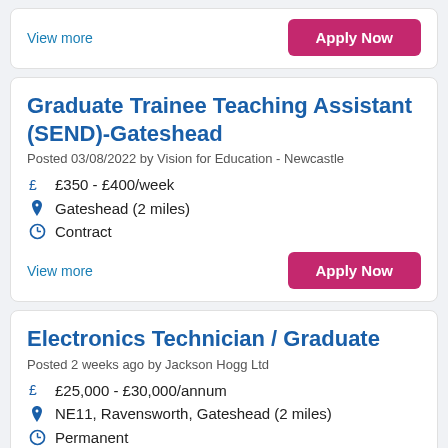View more
Apply Now
Graduate Trainee Teaching Assistant (SEND)-Gateshead
Posted 03/08/2022 by Vision for Education - Newcastle
£350 - £400/week
Gateshead (2 miles)
Contract
View more
Apply Now
Electronics Technician / Graduate
Posted 2 weeks ago by Jackson Hogg Ltd
£25,000 - £30,000/annum
NE11, Ravensworth, Gateshead (2 miles)
Permanent